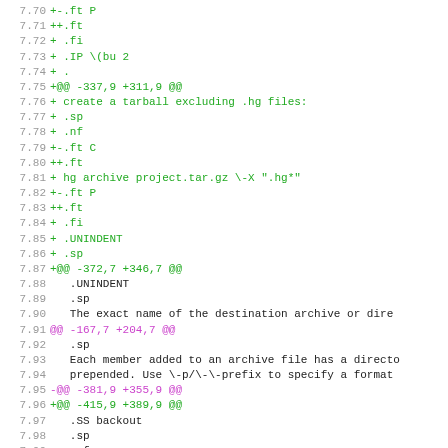Diff/patch code listing lines 7.70-7.101